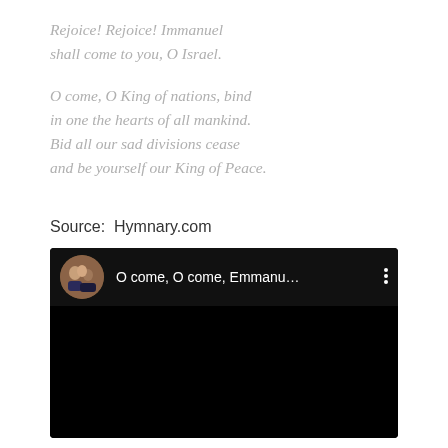Rejoice! Rejoice! Immanuel
shall come to you, O Israel.
O come, O King of nations, bind
in one the hearts of all mankind.
Bid all our sad divisions cease
and be yourself our King of Peace.
Source:  Hymnary.com
[Figure (screenshot): A YouTube video thumbnail showing a circular profile picture of a group of people and the title 'O come, O come, Emmanu...' with a three-dot menu icon, against a black background.]